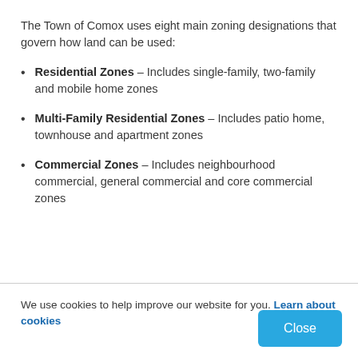The Town of Comox uses eight main zoning designations that govern how land can be used:
Residential Zones – Includes single-family, two-family and mobile home zones
Multi-Family Residential Zones – Includes patio home, townhouse and apartment zones
Commercial Zones – Includes neighbourhood commercial, general commercial and core commercial zones
We use cookies to help improve our website for you. Learn about cookies